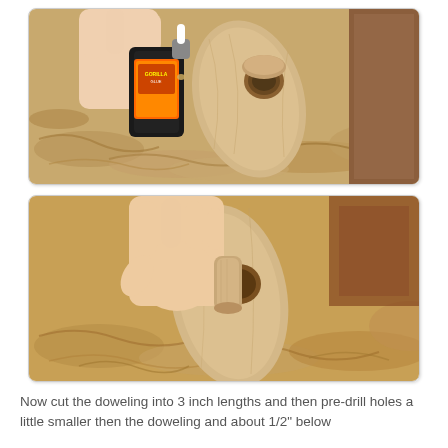[Figure (photo): A hand holding a bottle of Gorilla Glue, applying it into a hole drilled in a natural wood branch or log, surrounded by wood shavings.]
[Figure (photo): A hand inserting a small wooden dowel piece into a hole drilled in a natural wood branch or log, surrounded by wood shavings.]
Now cut the doweling into 3 inch lengths and then pre-drill holes a little smaller then the doweling and about 1/2" below